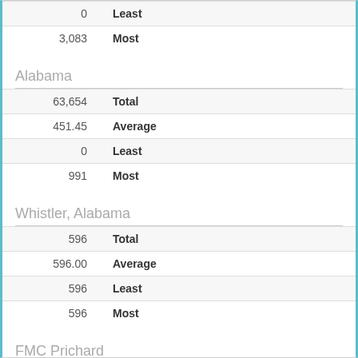| Value | Label |
| --- | --- |
| 0 | Least |
| 3,083 | Most |
Alabama
| Value | Label |
| --- | --- |
| 63,654 | Total |
| 451.45 | Average |
| 0 | Least |
| 991 | Most |
Whistler, Alabama
| Value | Label |
| --- | --- |
| 596 | Total |
| 596.00 | Average |
| 596 | Least |
| 596 | Most |
FMC Prichard
| Value | Label |
| --- | --- |
| 596 | FMC Prichard |